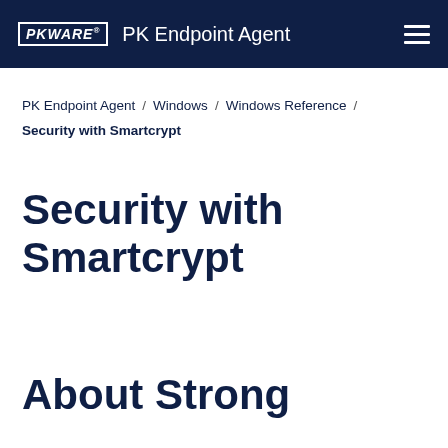PKWARE | PK Endpoint Agent
PK Endpoint Agent / Windows / Windows Reference /
Security with Smartcrypt
Security with Smartcrypt
About Strong